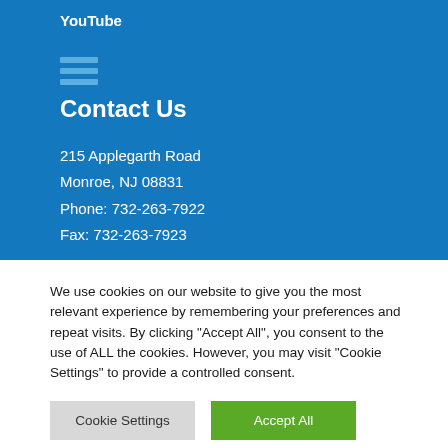YouTube
Contact Us
215 Applegarth Road
Monroe, NJ 08831
Phone: 732-263-7922
Fax: 732-263-7923
We use cookies on our website to give you the most relevant experience by remembering your preferences and repeat visits. By clicking “Accept All”, you consent to the use of ALL the cookies. However, you may visit "Cookie Settings" to provide a controlled consent.
Cookie Settings
Accept All